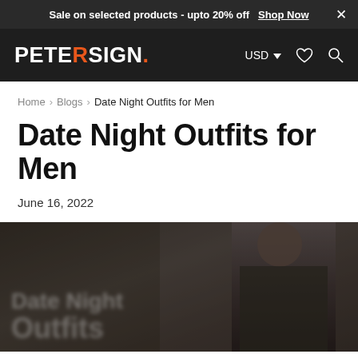Sale on selected products - upto 20% off  Shop Now  ×
[Figure (logo): PETERSIGN. logo in white with orange R and orange dot, on dark navigation bar with USD dropdown, heart icon, and search icon]
Home › Blogs › Date Night Outfits for Men
Date Night Outfits for Men
June 16, 2022
[Figure (photo): Blurred hero image showing a man in dark clothing with overlaid blurred text reading 'Date Night Outfits']